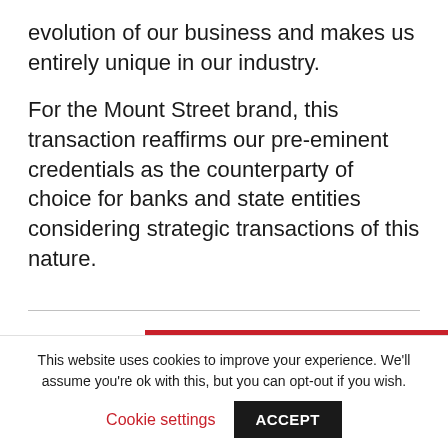evolution of our business and makes us entirely unique in our industry.
For the Mount Street brand, this transaction reaffirms our pre-eminent credentials as the counterparty of choice for banks and state entities considering strategic transactions of this nature.
[Figure (other): Red Download button with download icon]
This website uses cookies to improve your experience. We'll assume you're ok with this, but you can opt-out if you wish.
Cookie settings  ACCEPT